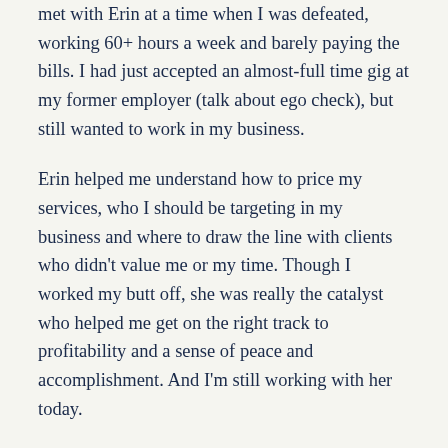met with Erin at a time when I was defeated, working 60+ hours a week and barely paying the bills. I had just accepted an almost-full time gig at my former employer (talk about ego check), but still wanted to work in my business.
Erin helped me understand how to price my services, who I should be targeting in my business and where to draw the line with clients who didn't value me or my time. Though I worked my butt off, she was really the catalyst who helped me get on the right track to profitability and a sense of peace and accomplishment. And I'm still working with her today.
My daughter
My daughter is a big reason I took the leap into full time